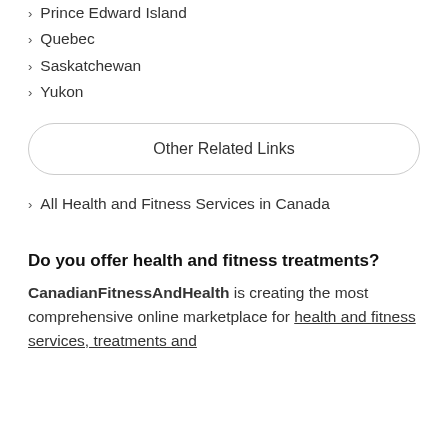Prince Edward Island
Quebec
Saskatchewan
Yukon
Other Related Links
All Health and Fitness Services in Canada
Do you offer health and fitness treatments?
CanadianFitnessAndHealth is creating the most comprehensive online marketplace for health and fitness services, treatments and